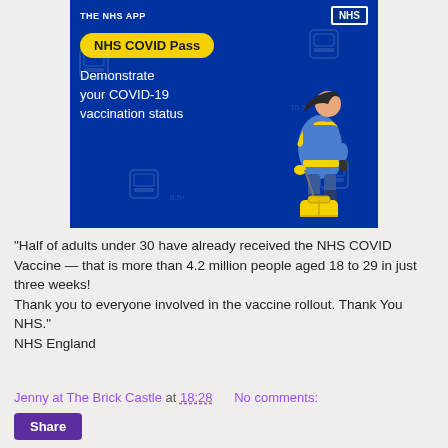[Figure (illustration): NHS App promotional banner showing 'NHS COVID Pass - Demonstrate your COVID-19 vaccination status' with illustration of a woman pulling a yellow suitcase on a blue background with watermark icons]
"Half of adults under 30 have already received the NHS COVID Vaccine — that is more than 4.2 million people aged 18 to 29 in just three weeks!
Thank you to everyone involved in the vaccine rollout. Thank You NHS."
NHS England
Jenny at The Brick Castle at 18:28    No comments:
Share